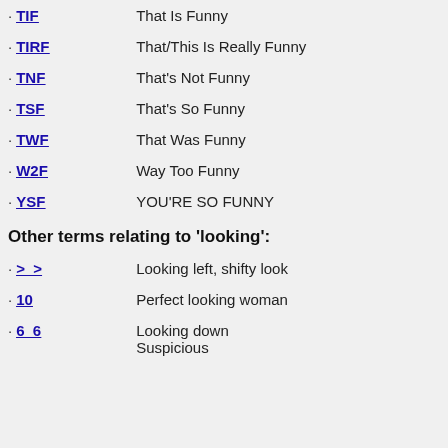TIF - That Is Funny
TIRF - That/This Is Really Funny
TNF - That's Not Funny
TSF - That's So Funny
TWF - That Was Funny
W2F - Way Too Funny
YSF - YOU'RE SO FUNNY
Other terms relating to 'looking':
> > - Looking left, shifty look
10 - Perfect looking woman
6 6 - Looking down Suspicious